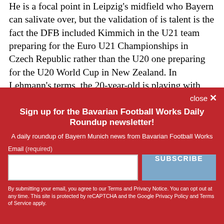He is a focal point in Leipzig's midfield who Bayern can salivate over, but the validation of is talent is the fact the DFB included Kimmich in the U21 team preparing for the Euro U21 Championships in Czech Republic rather than the U20 one preparing for the U20 World Cup in New Zealand. In Lehmann's terms, the 20-year-old is playing with first team...
Sign up for the Bavarian Football Works Daily Roundup newsletter!
A daily roundup of Bayern Munich news from Bavarian Football Works
Email (required)
By submitting your email, you agree to our Terms and Privacy Notice. You can opt out at any time. This site is protected by reCAPTCHA and the Google Privacy Policy and Terms of Service apply.